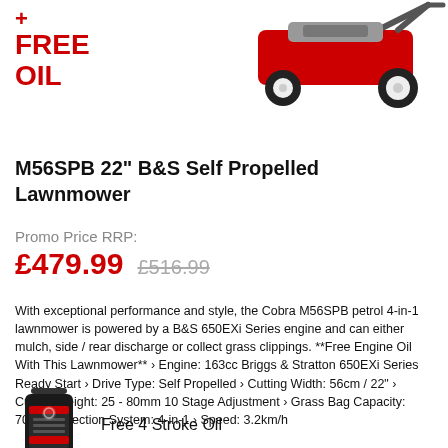[Figure (photo): Red lawnmower (Cobra M56SPB) product photo, top right of page, with a red plus sign and FREE OIL text overlay on the left]
M56SPB 22" B&S Self Propelled Lawnmower
Promo Price RRP:
£479.99   £516.99
With exceptional performance and style, the Cobra M56SPB petrol 4-in-1 lawnmower is powered by a B&S 650EXi Series engine and can either mulch, side / rear discharge or collect grass clippings. **Free Engine Oil With This Lawnmower** › Engine: 163cc Briggs & Stratton 650EXi Series Ready Start › Drive Type: Self Propelled › Cutting Width: 56cm / 22" › Cutting Height: 25 - 80mm 10 Stage Adjustment › Grass Bag Capacity: 70ltr › Collection System: 4-in-1 › Speed: 3.2km/h
[Figure (photo): Small black bottle of 4 Stroke Oil (Briggs & Stratton branded)]
Free 4 Stroke Oil